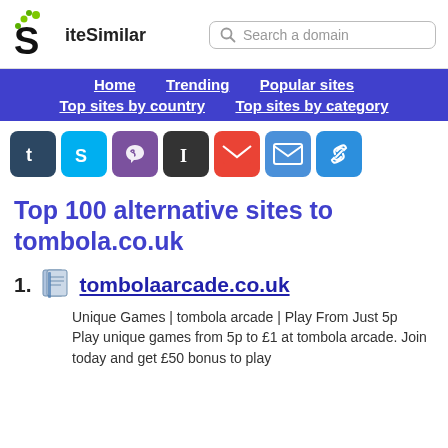[Figure (logo): SiteSimilar logo with stylized S letter and green dots, next to text 'iteSimilar']
Search a domain
Home   Trending   Popular sites   Top sites by country   Top sites by category
[Figure (infographic): Social sharing icons row: Tumblr, Skype, Viber, Instapaper, Gmail, Email, Link]
Top 100 alternative sites to tombola.co.uk
1. tombolaarcade.co.uk — Unique Games | tombola arcade | Play From Just 5p — Play unique games from 5p to £1 at tombola arcade. Join today and get £50 bonus to play